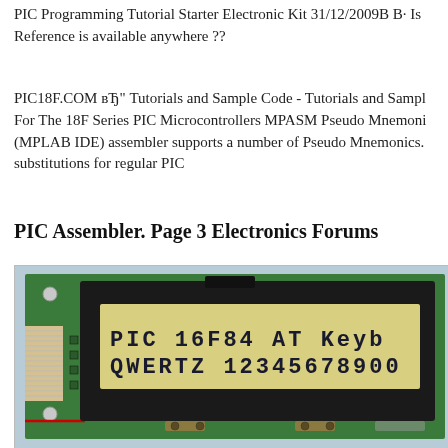PIC Programming Tutorial Starter Electronic Kit 31/12/2009B B· Is Reference is available anywhere ??
PIC18F.COM вЂ" Tutorials and Sample Code - Tutorials and Sample For The 18F Series PIC Microcontrollers MPASM Pseudo Mnemonics (MPLAB IDE) assembler supports a number of Pseudo Mnemonics. substitutions for regular PIC
PIC Assembler. Page 3 Electronics Forums
[Figure (photo): Photo of a green PCB with an LCD display module showing 'PIC 16F84 AT Keyb' on first line and 'QWERTZ 1234567890' on second line, with ribbon cable connector on left side.]